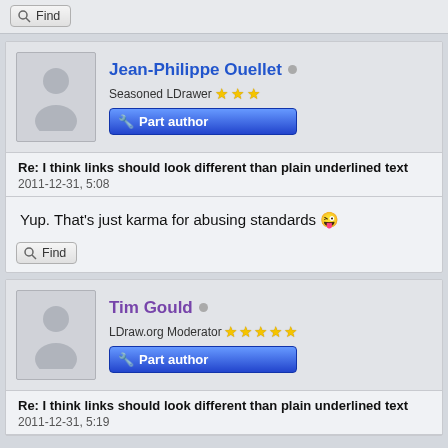[Figure (screenshot): Forum post by Jean-Philippe Ouellet, Seasoned LDrawer with 3 stars, Part author badge. Post subject: Re: I think links should look different than plain underlined text, dated 2011-12-31, 5:08. Body: Yup. That's just karma for abusing standards :P]
[Figure (screenshot): Forum post header by Tim Gould, LDraw.org Moderator with 5 stars, Part author badge. Post subject: Re: I think links should look different than plain underlined text, dated 2011-12-31, 5:19]